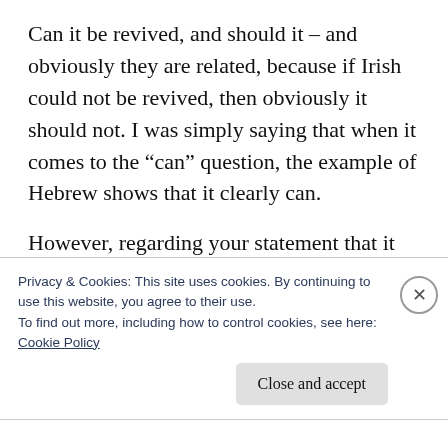Can it be revived, and should it – and obviously they are related, because if Irish could not be revived, then obviously it should not. I was simply saying that when it comes to the “can” question, the example of Hebrew shows that it clearly can.
However, regarding your statement that it would require massive state intervention to bring about language
Privacy & Cookies: This site uses cookies. By continuing to use this website, you agree to their use.
To find out more, including how to control cookies, see here: Cookie Policy
Close and accept